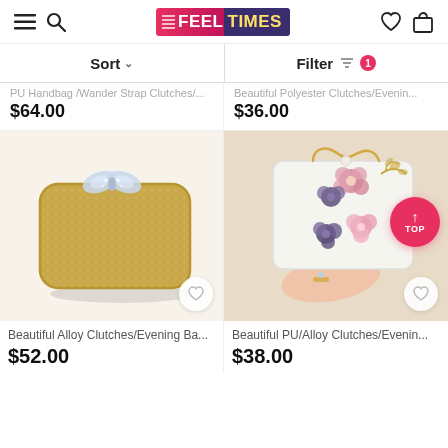FEELTIMES
Sort  Filter 1
PU Handbag /Wander Strap Clutches/... $64.00
Beautiful Polyester Clutches/Evenin... $36.00
[Figure (photo): Gold sparkly clutch bag with crystal butterfly clasp]
Beautiful Alloy Clutches/Evening Ba... $52.00
[Figure (photo): White clutch bag with floral embellishments held by a hand]
Beautiful PU/Alloy Clutches/Evenin... $38.00